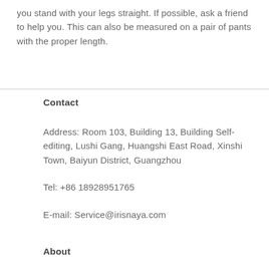you stand with your legs straight. If possible, ask a friend to help you. This can also be measured on a pair of pants with the proper length.
Contact
Address: Room 103, Building 13, Building Self-editing, Lushi Gang, Huangshi East Road, Xinshi Town, Baiyun District, Guangzhou
Tel: +86 18928951765
E-mail: Service@irisnaya.com
About